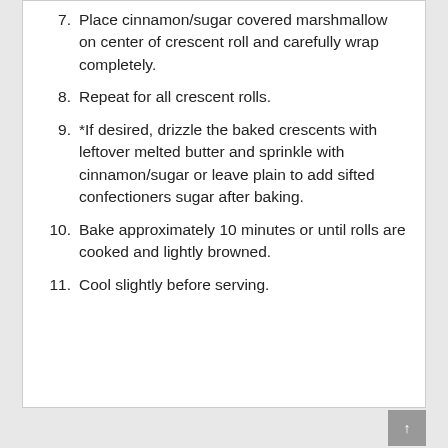7. Place cinnamon/sugar covered marshmallow on center of crescent roll and carefully wrap completely.
8. Repeat for all crescent rolls.
9. *If desired, drizzle the baked crescents with leftover melted butter and sprinkle with cinnamon/sugar or leave plain to add sifted confectioners sugar after baking.
10. Bake approximately 10 minutes or until rolls are cooked and lightly browned.
11. Cool slightly before serving.